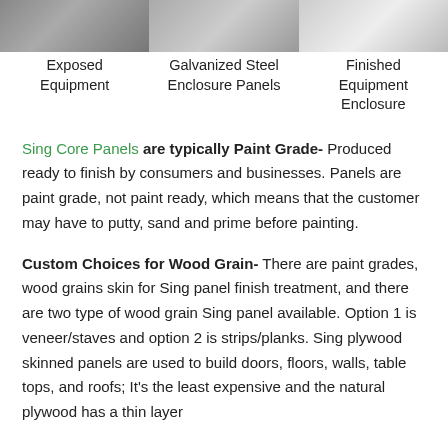[Figure (photo): Three photos in a row showing Exposed Equipment, Galvanized Steel Enclosure Panels, and Finished Equipment Enclosure]
Exposed Equipment
Galvanized Steel Enclosure Panels
Finished Equipment Enclosure
Sing Core Panels are typically Paint Grade- Produced ready to finish by consumers and businesses. Panels are paint grade, not paint ready, which means that the customer may have to putty, sand and prime before painting.
Custom Choices for Wood Grain- There are paint grades, wood grains skin for Sing panel finish treatment, and there are two type of wood grain Sing panel available. Option 1 is veneer/staves and option 2 is strips/planks. Sing plywood skinned panels are used to build doors, floors, walls, table tops, and roofs; It's the least expensive and the natural plywood has a thin layer